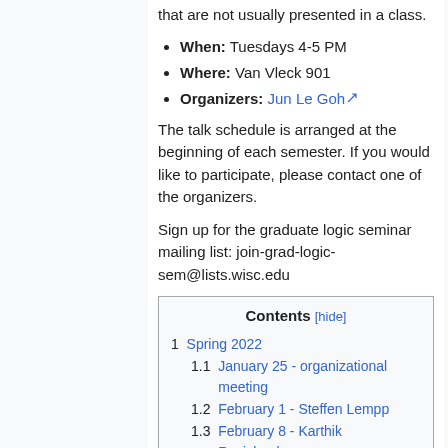that are not usually presented in a class.
When: Tuesdays 4-5 PM
Where: Van Vleck 901
Organizers: Jun Le Goh
The talk schedule is arranged at the beginning of each semester. If you would like to participate, please contact one of the organizers.
Sign up for the graduate logic seminar mailing list: join-grad-logic-sem@lists.wisc.edu
| Contents [hide] |
| --- |
| 1  Spring 2022 |
| 1.1  January 25 - organizational meeting |
| 1.2  February 1 - Steffen Lempp |
| 1.3  February 8 - Karthik Ravishankar |